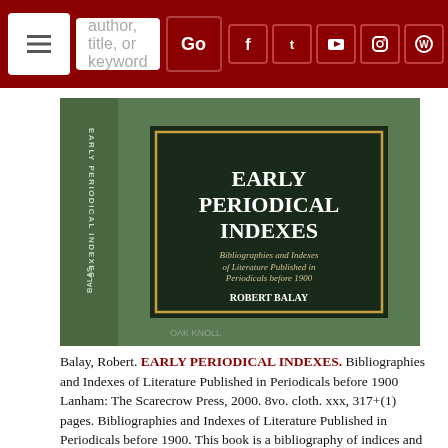[Figure (screenshot): Website navigation bar with dark red background, hamburger menu button, search box with placeholder 'author, title, or keyword', Go button, and social media icons (Facebook, Twitter, YouTube, Instagram, WordPress).]
[Figure (photo): Book cover of 'Early Periodical Indexes: Bibliographies and Indexes of Literature Published in Periodicals before 1900' by Robert Balay. Green hardcover with spine showing title vertically. Dark panel with gold-bordered rectangle containing title text. Oak Knoll watermark visible.]
Balay, Robert. EARLY PERIODICAL INDEXES. Bibliographies and Indexes of Literature Published in Periodicals before 1900 Lanham: The Scarecrow Press, 2000. 8vo. cloth. xxx, 317+(1) pages. Bibliographies and Indexes of Literature Published in Periodicals before 1900. This book is a bibliography of indices and bibliographies of articles and literature published in periodicals before 1900. With the bookplate and pencil signature of Gavin